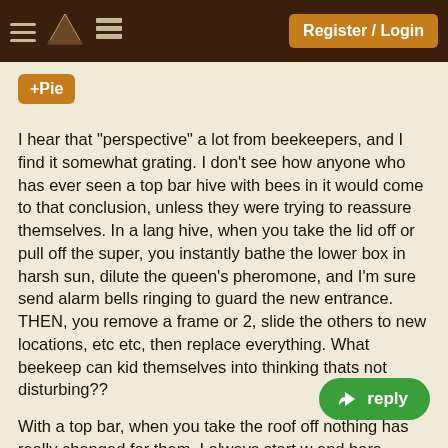Register / Login
+Pie
I hear that "perspective" a lot from beekeepers, and I find it somewhat grating. I don't see how anyone who has ever seen a top bar hive with bees in it would come to that conclusion, unless they were trying to reassure themselves. In a lang hive, when you take the lid off or pull off the super, you instantly bathe the lower box in harsh sun, dilute the queen's pheromone, and I'm sure send alarm bells ringing to guard the new entrance. THEN, you remove a frame or 2, slide the others to new locations, etc etc, then replace everything. What beekeep can kid themselves into thinking thats not disturbing??
With a top bar, when you take the roof off nothing has really changed for them. I always start w end bars, slowly pry it up noticing if there is resistance to indicate comb or propolis, the remove it completely,